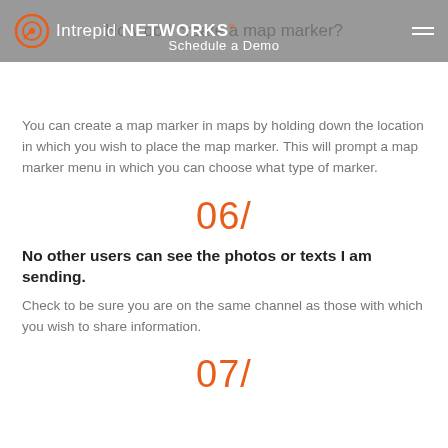Intrepid NETWORKS | Schedule a Demo
How do I create a map marker?
You can create a map marker in maps by holding down the location in which you wish to place the map marker. This will prompt a map marker menu in which you can choose what type of marker.
06/
No other users can see the photos or texts I am sending.
Check to be sure you are on the same channel as those with which you wish to share information.
07/